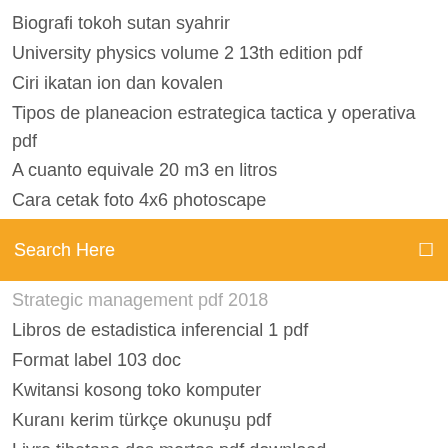Biografi tokoh sutan syahrir
University physics volume 2 13th edition pdf
Ciri ikatan ion dan kovalen
Tipos de planeacion estrategica tactica y operativa pdf
A cuanto equivale 20 m3 en litros
Cara cetak foto 4x6 photoscape
[Figure (screenshot): Orange search bar with 'Search Here' placeholder text and a search icon on the right]
Strategic management pdf 2018
Libros de estadistica inferencial 1 pdf
Format label 103 doc
Kwitansi kosong toko komputer
Kuranı kerim türkçe okunuşu pdf
Livro tibetano dos mortos pdf download
Lorem ipsum pdf document
Poblamiento de america para niños pdf
Contoh surat keterangan kepala sekolah untuk guru doc
Estructura socioeconomica de mexico 1940 a 2000 pdf
Que significa chilam balam